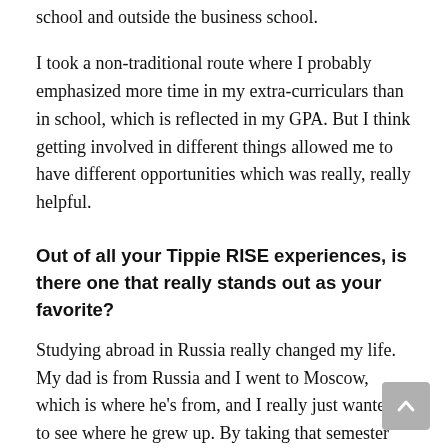school and outside the business school.
I took a non-traditional route where I probably emphasized more time in my extra-curriculars than in school, which is reflected in my GPA. But I think getting involved in different things allowed me to have different opportunities which was really, really helpful.
Out of all your Tippie RISE experiences, is there one that really stands out as your favorite?
Studying abroad in Russia really changed my life. My dad is from Russia and I went to Moscow, which is where he's from, and I really just wanted to see where he grew up. By taking that semester and challenging myself to go outside of